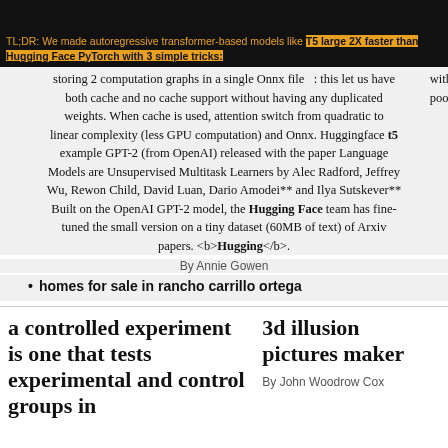TL;DR: We made autoregressive transformer-based models like T5 large 2X faster than Hugging Face PyTorch with 3 simple tricks: storing 2 computation graphs in a single Onnx file: this let us have with both cache and no cache support without having any duplicated pool weights. When cache is used, attention switch from quadratic to linear complexity (less GPU computation) and Onnx. Huggingface t5 example GPT-2 (from OpenAI) released with the paper Language Models are Unsupervised Multitask Learners by Alec Radford, Jeffrey Wu, Rewon Child, David Luan, Dario Amodei** and Ilya Sutskever** Built on the OpenAI GPT-2 model, the Hugging Face team has fine-tuned the small version on a tiny dataset (60MB of text) of Arxiv papers. <b>Hugging</b>.
By Annie Gowen
homes for sale in rancho carrillo ortega
a controlled experiment is one that tests experimental and control groups in
3d illusion pictures maker
By John Woodrow Cox